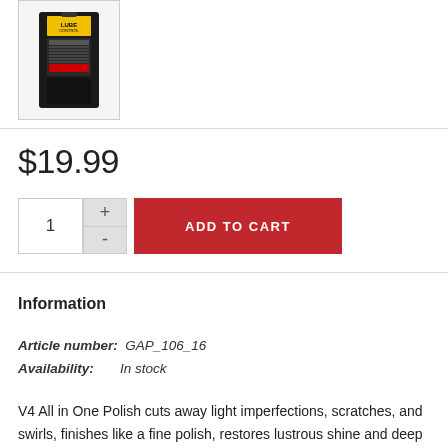[Figure (photo): Product image of a black spray bottle with yellow and red label]
$19.99
ADD TO CART
Information
Article number:   GAP_106_16
Availability:      In stock
V4 All in One Polish cuts away light imperfections, scratches, and swirls, finishes like a fine polish, restores lustrous shine and deep